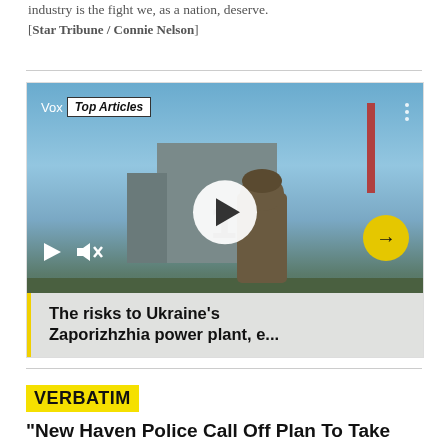industry is the fight we, as a nation, deserve.
[Star Tribune / Connie Nelson]
[Figure (screenshot): Vox Top Articles video player showing a scene from Ukraine's Zaporizhzhia power plant with a soldier. Contains play button, mute/unmute icons, forward arrow button (yellow), and caption overlay reading 'The risks to Ukraine’s Zaporizhzhia power plant, e...']
VERBATIM
"New Haven Police Call Off Plan To Take